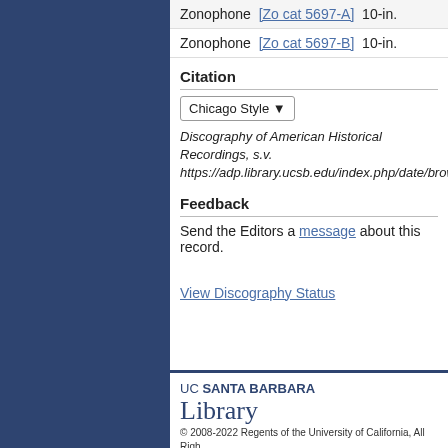Zonophone  [Zo cat 5697-A]  10-in.
Zonophone  [Zo cat 5697-B]  10-in.
Citation
Chicago Style ▾
Discography of American Historical Recordings, s.v. https://adp.library.ucsb.edu/index.php/date/browse
Feedback
Send the Editors a message about this record.
View Discography Status
UC SANTA BARBARA Library © 2008-2022 Regents of the University of California, All Rights Reserved. Home | Contact Us | Terms of Use | Accessibility